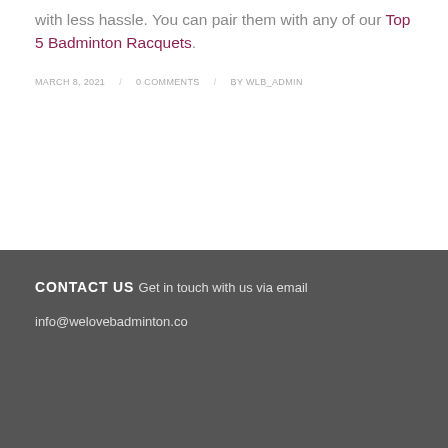with less hassle. You can pair them with any of our Top 5 Badminton Racquets.
MARCH 8, 2021 / 0 COMMENTS / BY WLB_ADMIN
CONTACT US
Get in touch with us via email
info@welovebadminton.co